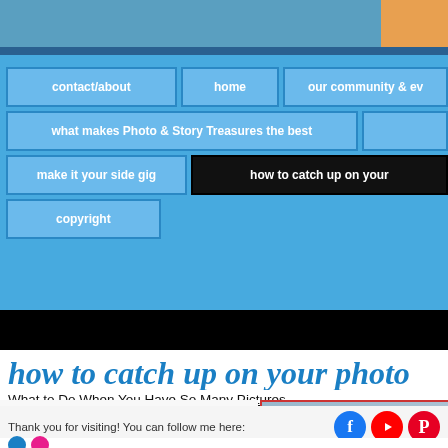[Figure (screenshot): Top image strip showing partial website header with photo]
[Figure (screenshot): Website navigation menu with blue background showing nav buttons: contact/about, home, our community & ev..., what makes Photo & Story Treasures the best, make it your side gig, how to catch up on your..., copyright]
how to catch up on your photo
What to Do When You Have So Many Pictures
[Figure (photo): Partial photo visible in bottom right]
Thank you for visiting! You can follow me here: